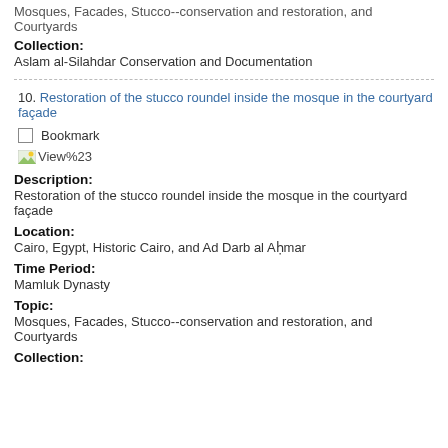Mosques, Facades, Stucco--conservation and restoration, and Courtyards
Collection:
Aslam al-Silahdar Conservation and Documentation
10. Restoration of the stucco roundel inside the mosque in the courtyard façade
Bookmark
[Figure (screenshot): View%23 icon/image link]
Description:
Restoration of the stucco roundel inside the mosque in the courtyard façade
Location:
Cairo, Egypt, Historic Cairo, and Ad Darb al Aḥmar
Time Period:
Mamluk Dynasty
Topic:
Mosques, Facades, Stucco--conservation and restoration, and Courtyards
Collection: